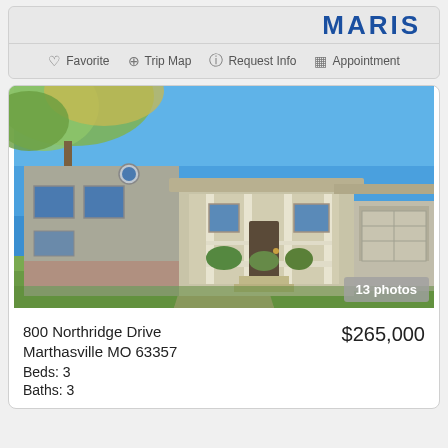[Figure (logo): MARIS logo in bold blue letters]
Favorite  Trip Map  Request Info  Appointment
[Figure (photo): Exterior photo of a two-story residential home with covered front porch, beige/gray siding, green lawn, clear blue sky. Shows 13 photos badge.]
800 Northridge Drive Marthasville MO 63357 Beds: 3 Baths: 3
$265,000